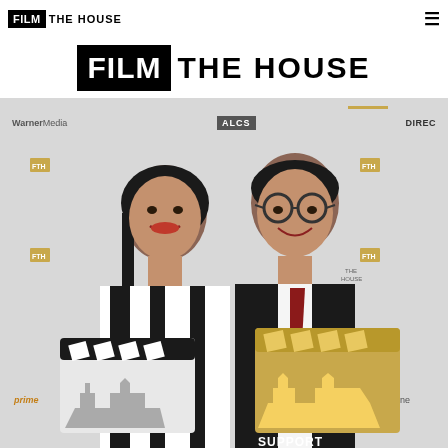FILM THE HOUSE [hamburger menu]
[Figure (logo): Film The House logo — large centered version with black box around FILM and bold THE HOUSE text]
[Figure (photo): Two people smiling and posing at a Film The House event, holding gold and white clapperboard props. Background shows a sponsor step-and-repeat banner with WarnerMedia, ALCS, DIRECTV logos and Film The House branding. Woman on left in black and white outfit, man on right in dark suit with red tie wearing glasses.]